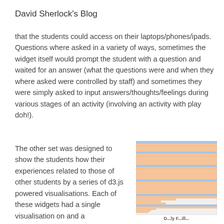David Sherlock's Blog
that the students could access on their laptops/phones/ipads. Questions where asked in a variety of ways, sometimes the widget itself would prompt the student with a question and waited for an answer (what the questions were and when they where asked were controlled by staff) and sometimes they were simply asked to input answers/thoughts/feelings during various stages of an activity (involving an activity with play doh!).
The other set was designed to show the students how their experiences related to those of other students by a series of d3.js powered visualisations. Each of these widgets had a single visualisation on and a
[Figure (screenshot): Screenshot of a d3.js powered data visualisation widget showing rows of orange/peach coloured horizontal bars with small blue header rows, resembling a table or chart interface.]
D...ly F...ill...